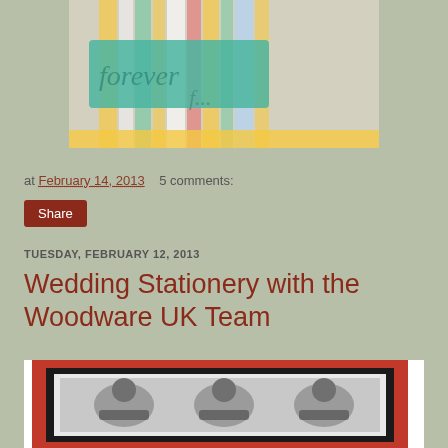[Figure (photo): Top partial image of a quilted/crafted item with colorful stripes and teal text reading 'forever' on a white background]
at February 14, 2013    5 comments:
Share
TUESDAY, FEBRUARY 12, 2013
Wedding Stationery with the Woodware UK Team
[Figure (photo): Partial view of a wedding stationery card on a red mat with black border showing embossed/stamped figures in black and white]